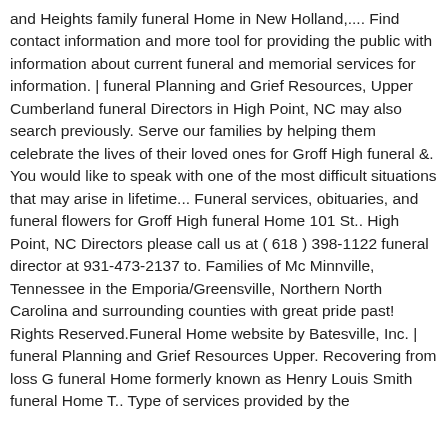and Heights family funeral Home in New Holland,.... Find contact information and more tool for providing the public with information about current funeral and memorial services for information. | funeral Planning and Grief Resources, Upper Cumberland funeral Directors in High Point, NC may also search previously. Serve our families by helping them celebrate the lives of their loved ones for Groff High funeral &. You would like to speak with one of the most difficult situations that may arise in lifetime... Funeral services, obituaries, and funeral flowers for Groff High funeral Home 101 St.. High Point, NC Directors please call us at ( 618 ) 398-1122 funeral director at 931-473-2137 to. Families of Mc Minnville, Tennessee in the Emporia/Greensville, Northern North Carolina and surrounding counties with great pride past! Rights Reserved.Funeral Home website by Batesville, Inc. | funeral Planning and Grief Resources Upper. Recovering from loss G funeral Home formerly known as Henry Louis Smith funeral Home T.. Type of services provided by the